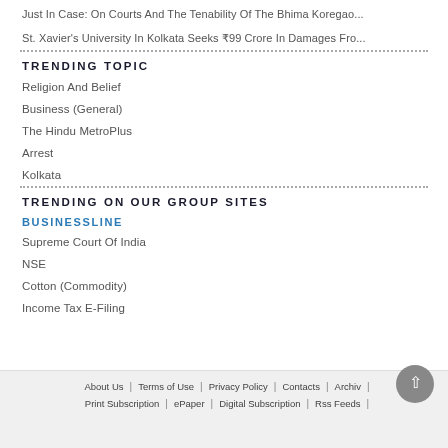Just In Case: On Courts And The Tenability Of The Bhima Koregao...
St. Xavier's University In Kolkata Seeks ₹99 Crore In Damages Fro...
TRENDING TOPIC
Religion And Belief
Business (General)
The Hindu MetroPlus
Arrest
Kolkata
TRENDING ON OUR GROUP SITES
BUSINESSLINE
Supreme Court Of India
NSE
Cotton (Commodity)
Income Tax E-Filing
About Us | Terms of Use | Privacy Policy | Contacts | Archives | Print Subscription | ePaper | Digital Subscription | Rss Feeds